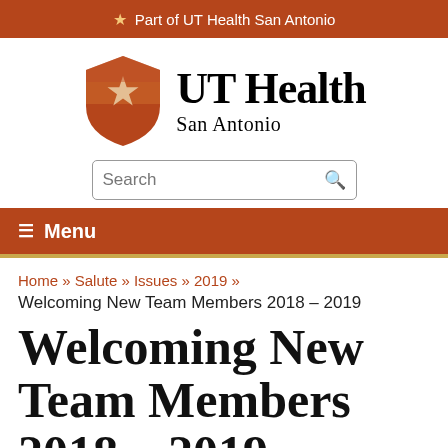★ Part of UT Health San Antonio
[Figure (logo): UT Health San Antonio logo with orange shield containing a white star and bold serif text 'UT Health San Antonio']
Search
☰ Menu
Home » Salute » Issues » 2019 »
Welcoming New Team Members 2018 – 2019
Welcoming New Team Members 2018 – 2019